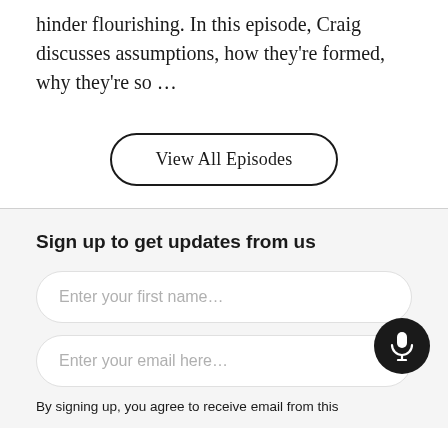hinder flourishing. In this episode, Craig discusses assumptions, how they're formed, why they're so ...
View All Episodes
Sign up to get updates from us
Enter your first name...
Enter your email here...
By signing up, you agree to receive email from this